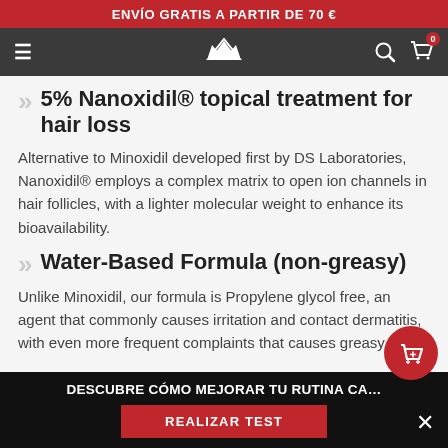ENVÍO GRATIS A PARTIR DE 70 €
5% Nanoxidil® topical treatment for hair loss
Alternative to Minoxidil developed first by DS Laboratories, Nanoxidil® employs a complex matrix to open ion channels in hair follicles, with a lighter molecular weight to enhance its bioavailability.
Water-Based Formula (non-greasy)
Unlike Minoxidil, our formula is Propylene glycol free, an agent that commonly causes irritation and contact dermatitis, with even more frequent complaints that causes greasy hair.
DESCUBRE CÓMO MEJORAR TU RUTINA CA…
REALIZAR TEST